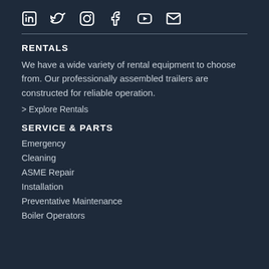[Figure (other): Row of social media icons: LinkedIn, Twitter, Instagram, Facebook, YouTube, Email]
RENTALS
We have a wide variety of rental equipment to choose from. Our professionally assembled trailers are constructed for reliable operation.
> Explore Rentals
SERVICE & PARTS
Emergency
Cleaning
ASME Repair
Installation
Preventative Maintenance
Boiler Operators